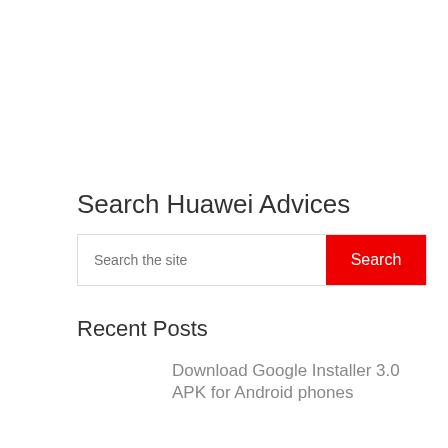Search Huawei Advices
[Figure (other): Search bar with text input placeholder 'Search the site' and a red 'Search' button]
Recent Posts
Download Google Installer 3.0 APK for Android phones